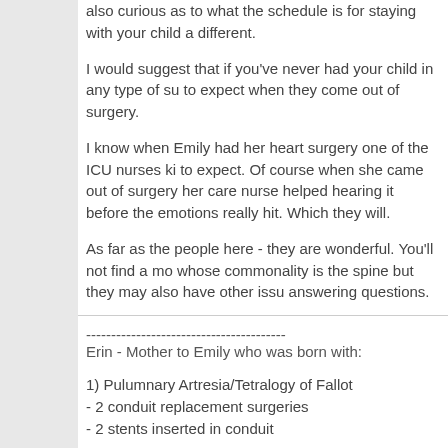also curious as to what the schedule is for staying with your child a different.
I would suggest that if you've never had your child in any type of su to expect when they come out of surgery.
I know when Emily had her heart surgery one of the ICU nurses ki to expect. Of course when she came out of surgery her care nurse helped hearing it before the emotions really hit. Which they will.
As far as the people here - they are wonderful. You'll not find a mo whose commonality is the spine but they may also have other issu answering questions.
----------------------------------------
Erin - Mother to Emily who was born with:
1) Pulumnary Artresia/Tetralogy of Fallot
- 2 conduit replacement surgeries
- 2 stents inserted in conduit
2) Congenital Scoliosis (9 incomplete vertebrae - 2 hemi)
3) Cystic Kidneys
- Right one non-functioning
- Left one growing and working well